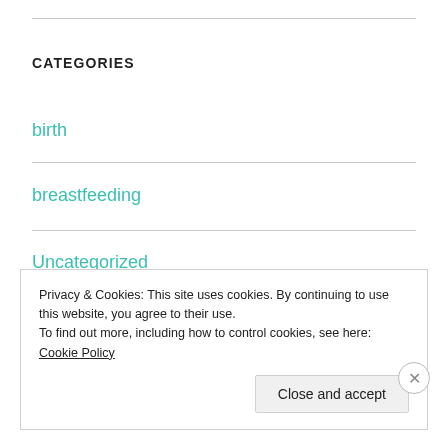CATEGORIES
birth
breastfeeding
Uncategorized
META
Privacy & Cookies: This site uses cookies. By continuing to use this website, you agree to their use.
To find out more, including how to control cookies, see here: Cookie Policy
Close and accept